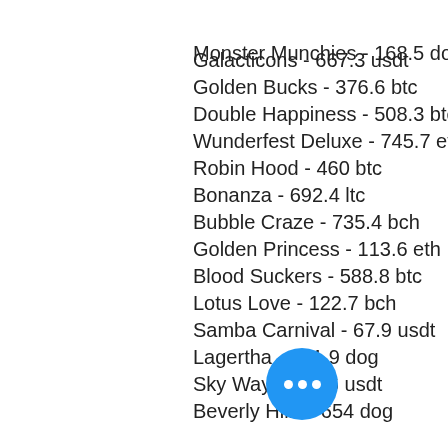Monster Munchies - 168.5 dog
Galacticons - 667.3 usdt
Golden Bucks - 376.6 btc
Double Happiness - 508.3 btc
Wunderfest Deluxe - 745.7 eth
Robin Hood - 460 btc
Bonanza - 692.4 ltc
Bubble Craze - 735.4 bch
Golden Princess - 113.6 eth
Blood Suckers - 588.8 btc
Lotus Love - 122.7 bch
Samba Carnival - 67.9 usdt
Lagertha - 211.9 dog
Sky Way - 123.6 usdt
Beverly Hills - 654 dog
Best Slots Games:
Vegas Crest Casino The Land of Hero
Vegas Crest Casino The King Panda
BitcoinCasino.us Ivanhoe